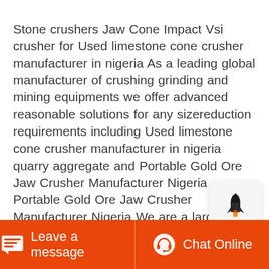Stone crushers Jaw Cone Impact Vsi crusher for Used limestone cone crusher manufacturer in nigeria As a leading global manufacturer of crushing grinding and mining equipments we offer advanced reasonable solutions for any sizereduction requirements including Used limestone cone crusher manufacturer in nigeria quarry aggregate and Portable Gold Ore Jaw Crusher Manufacturer Nigeria Portable Gold Ore Jaw Crusher Manufacturer Nigeria We are a largescale manufacturer specializing in producing various mining machines including different types of sand and gravel equipment milling equipment mineral processing equipment and building materials equipment
[Figure (illustration): Rocket launch icon in a light gray rounded rectangle button]
Leave a message   Chat Online